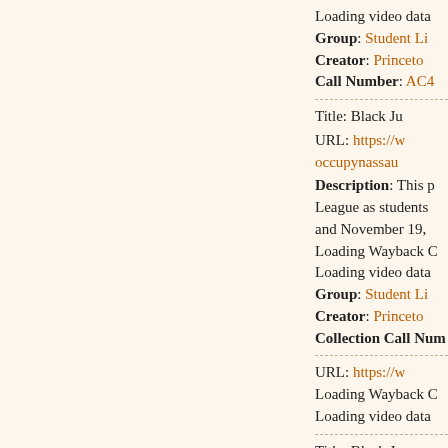Loading video data
Group: Student Li...
Creator: Princeton...
Call Number: AC4...
Title: Black Ju...
URL: https://w... occupynassau...
Description: This p... League as students... and November 19,...
Loading Wayback C...
Loading video data
Group: Student Li...
Creator: Princeton...
Collection Call Num...
URL: https://w...
Loading Wayback C...
Loading video data
Title: Black Ju...
URL: https://...